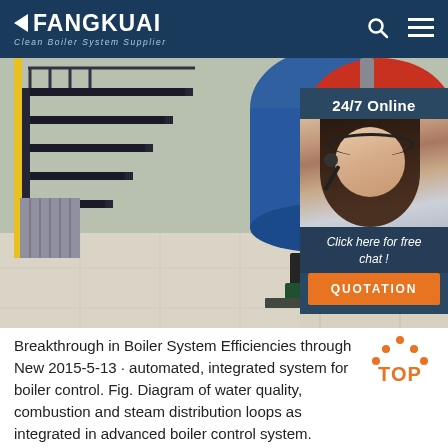FANGKUAI - Clean Boiler System Supplier
[Figure (photo): Industrial boiler room with red cylindrical boilers, black metal staircases, pipes and hoses, light-colored floor tiles. Right side shows a customer service widget with '24/7 Online' label, a woman wearing a headset, 'Click here for free chat!' text, and an orange QUOTATION button.]
Breakthrough in Boiler System Efficiencies through New 2015-5-13 · automated, integrated system for boiler control. Fig. Diagram of water quality, combustion and steam distribution loops as integrated in advanced boiler control system. System ...